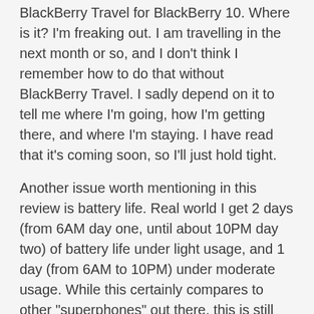BlackBerry Travel for BlackBerry 10. Where is it? I'm freaking out. I am travelling in the next month or so, and I don't think I remember how to do that without BlackBerry Travel. I sadly depend on it to tell me where I'm going, how I'm getting there, and where I'm staying. I have read that it's coming soon, so I'll just hold tight.
Another issue worth mentioning in this review is battery life. Real world I get 2 days (from 6AM day one, until about 10PM day two) of battery life under light usage, and 1 day (from 6AM to 10PM) under moderate usage. While this certainly compares to other "superphones" out there, this is still inadequate and needs to be generally addressed at the industry level. Put some Rossi LENR in these things or something.